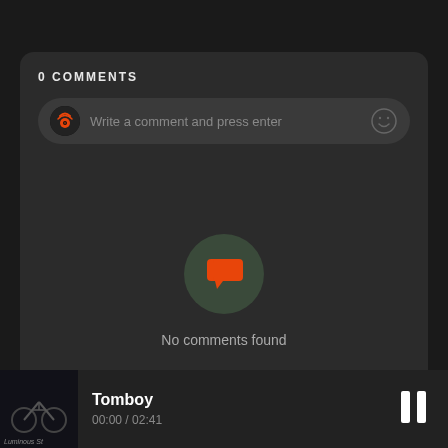0 COMMENTS
Write a comment and press enter
[Figure (illustration): Empty comments state icon: dark green circle with orange chat bubble icon]
No comments found
[Figure (illustration): Album art thumbnail showing a bicycle scene with 'Luminous St' text]
Tomboy
00:00 / 02:41